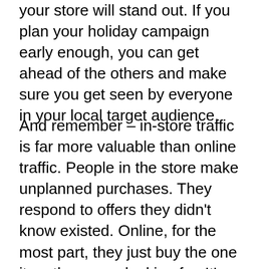your store will stand out. If you plan your holiday campaign early enough, you can get ahead of the others and make sure you get seen by everyone in your local target audience.
And remember – in-store traffic is far more valuable than online traffic. People in the store make unplanned purchases. They respond to offers they didn't know existed. Online, for the most part, they just buy the one item they were looking for. It's lower revenue, and you're competing on price on almost every item. In the store, they're already there, so convenience trumps price